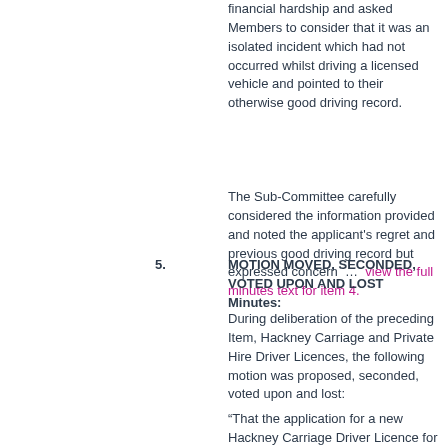financial hardship and asked Members to consider that it was an isolated incident which had not occurred whilst driving a licensed vehicle and pointed to their otherwise good driving record.
The Sub-Committee carefully considered the information provided and noted the applicant's regret and previous good driving record but expressed concern … view the full minutes text for item 4.
5. MOTION MOVED, SECONDED, VOTED UPON AND LOST Minutes:
During deliberation of the preceding Item, Hackney Carriage and Private Hire Driver Licences, the following motion was proposed, seconded, voted upon and lost:
“That the application for a new Hackney Carriage Driver Licence for T.P.S. be granted with a severe warning letter that in the